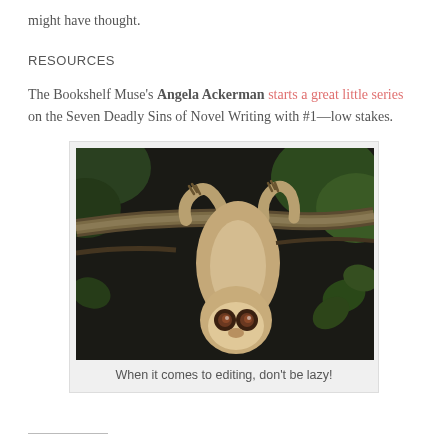might have thought.
RESOURCES
The Bookshelf Muse's Angela Ackerman starts a great little series on the Seven Deadly Sins of Novel Writing with #1—low stakes.
[Figure (photo): A two-toed sloth hanging upside down from a tree branch in a dark forest, looking at the camera. Caption: When it comes to editing, don't be lazy!]
When it comes to editing, don't be lazy!